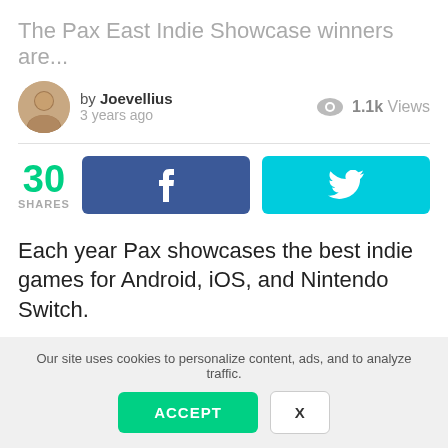The Pax East Indie Showcase winners are...
by Joevellius · 3 years ago · 1.1k Views
30 SHARES
Each year Pax showcases the best indie games for Android, iOS, and Nintendo Switch.
Pax East is one of the largest gaming conventions in the United States and features Game Developers and
Our site uses cookies to personalize content, ads, and to analyze traffic.